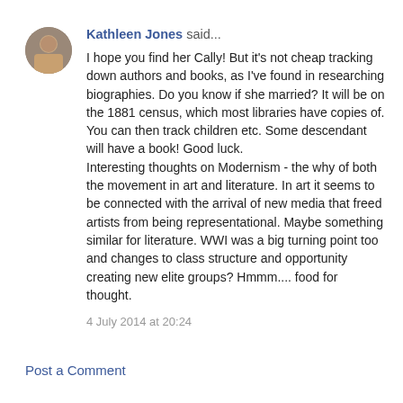Kathleen Jones said... I hope you find her Cally! But it's not cheap tracking down authors and books, as I've found in researching biographies. Do you know if she married? It will be on the 1881 census, which most libraries have copies of. You can then track children etc. Some descendant will have a book! Good luck. Interesting thoughts on Modernism - the why of both the movement in art and literature. In art it seems to be connected with the arrival of new media that freed artists from being representational. Maybe something similar for literature. WWI was a big turning point too and changes to class structure and opportunity creating new elite groups? Hmmm.... food for thought.
4 July 2014 at 20:24
Post a Comment